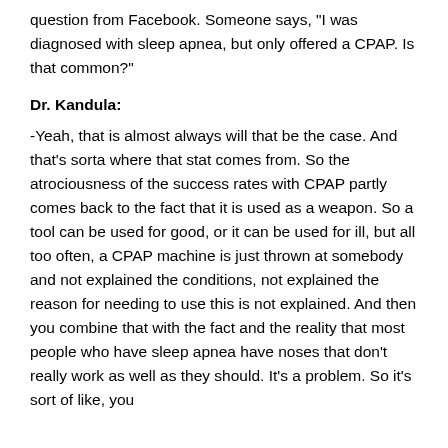question from Facebook. Someone says, "I was diagnosed with sleep apnea, but only offered a CPAP. Is that common?"
Dr. Kandula:
-Yeah, that is almost always will that be the case. And that's sorta where that stat comes from. So the atrociousness of the success rates with CPAP partly comes back to the fact that it is used as a weapon. So a tool can be used for good, or it can be used for ill, but all too often, a CPAP machine is just thrown at somebody and not explained the conditions, not explained the reason for needing to use this is not explained. And then you combine that with the fact and the reality that most people who have sleep apnea have noses that don't really work as well as they should. It's a problem. So it's sort of like, you